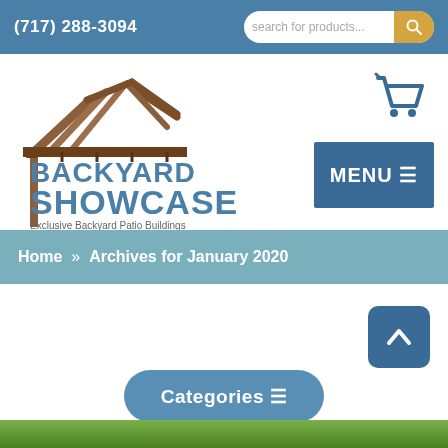(717) 288-3094
[Figure (logo): Backyard Showcase logo with wooden pergola frame structure illustration and text 'BACKYARD SHOWCASE - Exclusive Backyard Patio Buildings']
[Figure (illustration): Shopping cart icon in blue]
[Figure (other): MENU button with hamburger icon lines]
Home » Archives for January 2020
[Figure (other): Back to top arrow button]
[Figure (other): Categories button with hamburger lines icon]
[Figure (photo): Green foliage/garden background image strip at bottom]